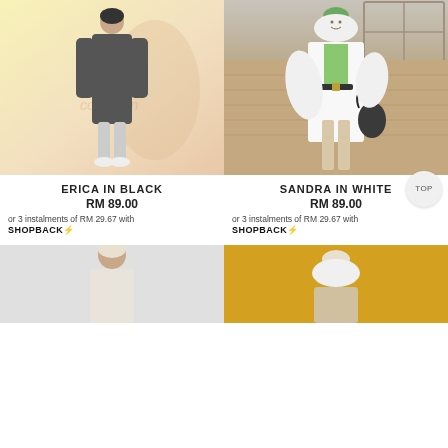[Figure (photo): Model wearing dark grey oversized dress/coat standing against yellow and peach pastel background]
ERICA IN BLACK
RM 89.00
or 3 instalments of RM 29.67 with SHOPBACK
[Figure (photo): Model wearing white loose blazer/coat with green top, beige trousers, standing outdoors against brick wall]
SANDRA IN WHITE
RM 89.00
or 3 instalments of RM 29.67 with SHOPBACK
[Figure (photo): Model in light/white outfit, bottom portion of page, left side]
[Figure (photo): Model in mustard/golden yellow outfit, bottom portion of page, right side]